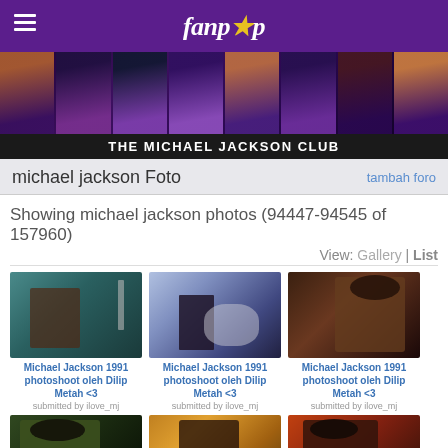fanpop
[Figure (photo): Banner strip with multiple Michael Jackson photos across different eras]
THE MICHAEL JACKSON CLUB
michael jackson Foto
tambah foro
Showing michael jackson photos (94447-94545 of 157960)
View: Gallery | List
[Figure (photo): Michael Jackson 1991 photoshoot in recording studio with microphone, wearing red cap]
Michael Jackson 1991 photoshoot oleh Dilip Metah <3
submitted by ilove_mj
[Figure (photo): Michael Jackson 1991 photoshoot with white horse outdoors, silhouette lighting]
Michael Jackson 1991 photoshoot oleh Dilip Metah <3
submitted by ilove_mj
[Figure (photo): Michael Jackson 1991 photoshoot close-up side profile wearing hat]
Michael Jackson 1991 photoshoot oleh Dilip Metah <3
submitted by ilove_mj
[Figure (photo): Michael Jackson smiling wearing black hat, partial bottom row]
[Figure (photo): Michael Jackson with bokeh golden light background, partial bottom row]
[Figure (photo): Michael Jackson wearing hat with orange/red lighting, partial bottom row]